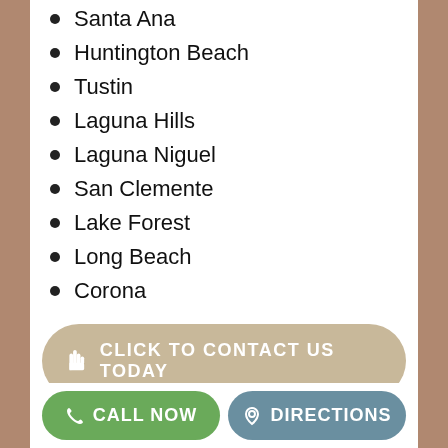Santa Ana
Huntington Beach
Tustin
Laguna Hills
Laguna Niguel
San Clemente
Lake Forest
Long Beach
Corona
[Figure (other): Button: CLICK TO CONTACT US TODAY with hand pointer icon]
MAP TO FOCUS ON HEALTH A PHYSICAL THERAPY CORPORATION
[Figure (map): Google Maps partial screenshot showing Hyatt Regency John Wayne Airport location with pink map pin]
[Figure (other): Bottom bar with green CALL NOW button and blue-grey DIRECTIONS button]